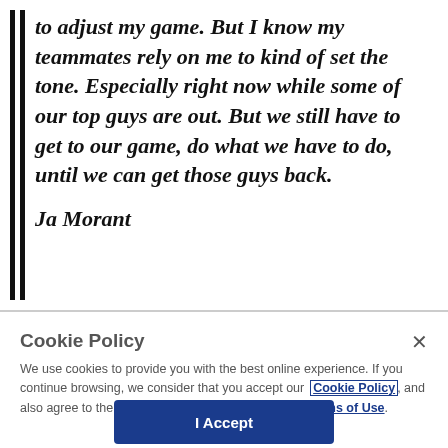to adjust my game. But I know my teammates rely on me to kind of set the tone. Especially right now while some of our top guys are out. But we still have to get to our game, do what we have to do, until we can get those guys back.

Ja Morant
Cookie Policy
We use cookies to provide you with the best online experience. If you continue browsing, we consider that you accept our Cookie Policy, and also agree to the terms of our Privacy Policy and Terms of Use.